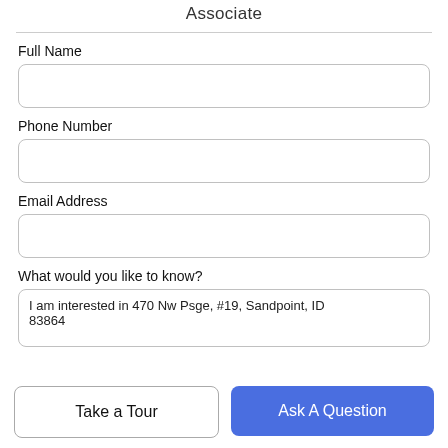Associate
Full Name
Phone Number
Email Address
What would you like to know?
I am interested in 470 Nw Psge, #19, Sandpoint, ID 83864
Take a Tour
Ask A Question